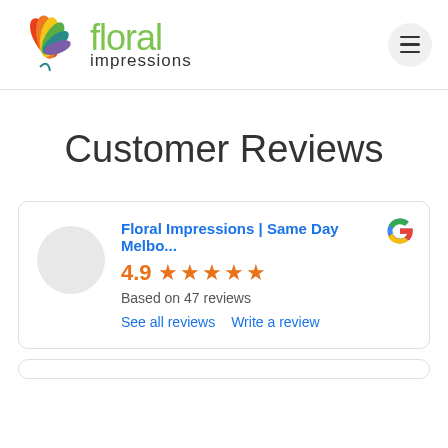Floral Impressions — website header with logo and hamburger menu
Customer Reviews
[Figure (other): Google review widget showing Floral Impressions | Same Day Melbo... with 4.9 star rating based on 47 reviews, with links to See all reviews and Write a review]